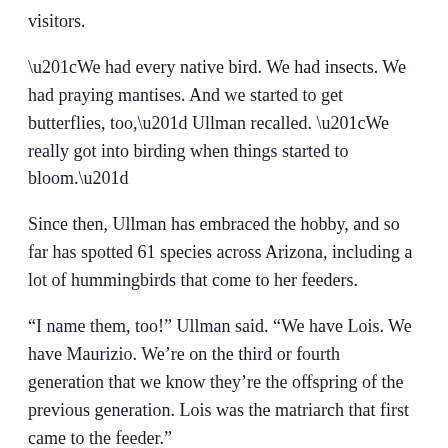visitors.
“We had every native bird. We had insects. We had praying mantises. And we started to get butterflies, too,” Ullman recalled. “We really got into birding when things started to bloom.”
Since then, Ullman has embraced the hobby, and so far has spotted 61 species across Arizona, including a lot of hummingbirds that come to her feeders.
“I name them, too!” Ullman said. “We have Lois. We have Maurizio. We’re on the third or fourth generation that we know they’re the offspring of the previous generation. Lois was the matriarch that first came to the feeder.”